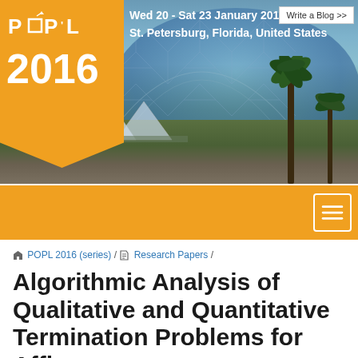[Figure (photo): POPL 2016 conference banner with geodesic dome building, palm trees, tents, and venue photo background. Overlaid with POPL 2016 golden ribbon logo and event date/location text.]
Wed 20 - Sat 23 January 2016
St. Petersburg, Florida, United States
Write a Blog >>
[Figure (screenshot): Orange navigation bar with hamburger menu icon (three horizontal lines in a white rounded square button).]
POPL 2016 (series) / Research Papers /
Algorithmic Analysis of Qualitative and Quantitative Termination Problems for Affine